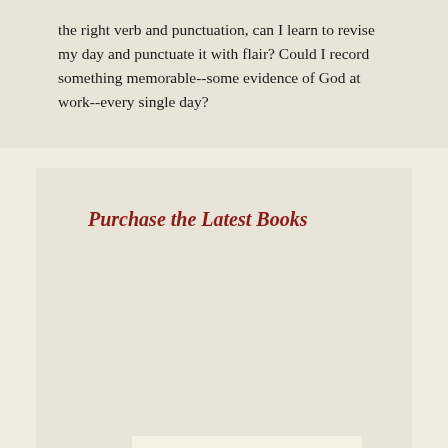the right verb and punctuation, can I learn to revise my day and punctuate it with flair? Could I record something memorable--some evidence of God at work--every single day?
Purchase the Latest Books
[Figure (photo): A photograph of an old greenhouse or conservatory with white-painted wooden window frames, glass panes, and climbing plants with red berries visible inside and around the structure.]